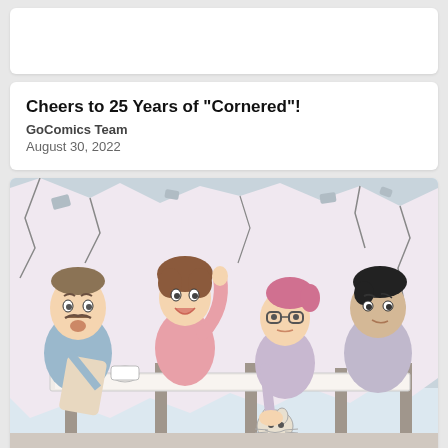Cheers to 25 Years of "Cornered"!
GoComics Team
August 30, 2022
[Figure (illustration): Comic strip illustration showing four cartoon characters sitting around a table — a man with a mustache reading a paper, a child with curly hair raising hand excitedly, a girl with glasses resting her chin on her hands, and a man with dark hair holding a mug. Behind them is a cracked wall with debris. A cat peeks from beneath the table.]
"Home Free" Makes Its GoComics Debut